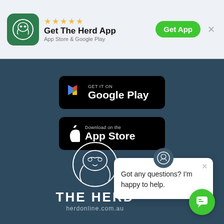[Figure (screenshot): App store banner with green app icon, 5 stars, 'Get The Herd App' title, 'App Store & Google Play' subtitle, green 'Get App' button, and close X button]
[Figure (screenshot): Google Play store badge button: 'GET IT ON Google Play' with Play triangle icon on black rounded rectangle]
[Figure (screenshot): Apple App Store badge button: 'Download on the App Store' with Apple logo on black rounded rectangle]
[Figure (logo): The Herd logo: circular line art of a ram/sheep head, 'THE HERD' text, 'herdonline.com.au' URL]
[Figure (screenshot): Chat popup widget with avatar icon, X close button, text 'Got any questions? I'm happy to help.']
[Figure (screenshot): Green circular chat FAB button with chat icon]